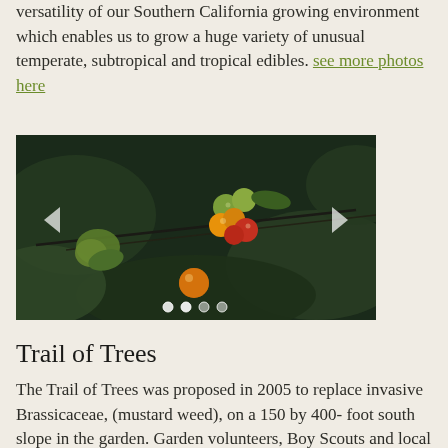versatility of our Southern California growing environment which enables us to grow a huge variety of unusual temperate, subtropical and tropical edibles. see more photos here
[Figure (photo): Close-up photo of small round berries (green, orange, red) hanging on a branch with dark blurred foliage background. Image slideshow with left/right navigation arrows and dot indicators.]
Trail of Trees
The Trail of Trees was proposed in 2005 to replace invasive Brassicaceae, (mustard weed), on a 150 by 400- foot south slope in the garden. Garden volunteers, Boy Scouts and local groups groomed the area by pulling the